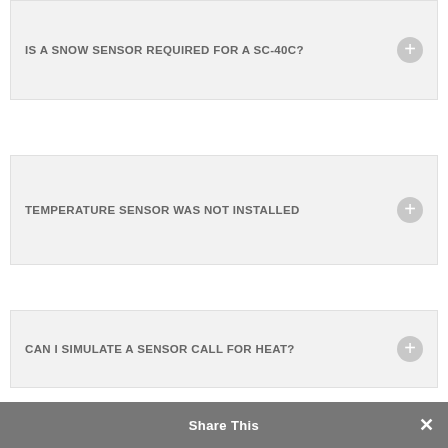IS A SNOW SENSOR REQUIRED FOR A SC-40C?
TEMPERATURE SENSOR WAS NOT INSTALLED
CAN I SIMULATE A SENSOR CALL FOR HEAT?
SNOW SENSOR NOT DETECTING SNOW OUTSIDE?
WHY DO I HAVE A RED/GREEN LIGHT ON?
Share This